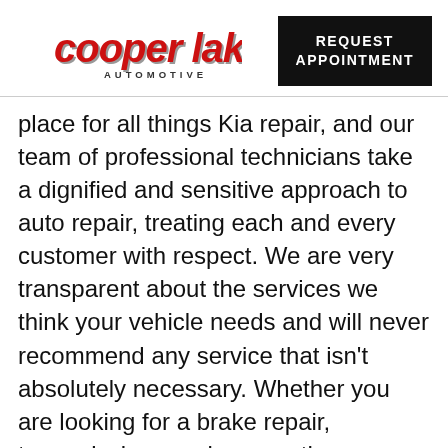[Figure (logo): Cooper Lake Automotive logo in red italic script with 'AUTOMOTIVE' subtitle]
[Figure (other): Black rectangle button with white text reading 'REQUEST APPOINTMENT']
place for all things Kia repair, and our team of professional technicians take a dignified and sensitive approach to auto repair, treating each and every customer with respect. We are very transparent about the services we think your vehicle needs and will never recommend any service that isn't absolutely necessary. Whether you are looking for a brake repair, transmission repair, or another service, come to our repair shop! If you are in Smyrna or the